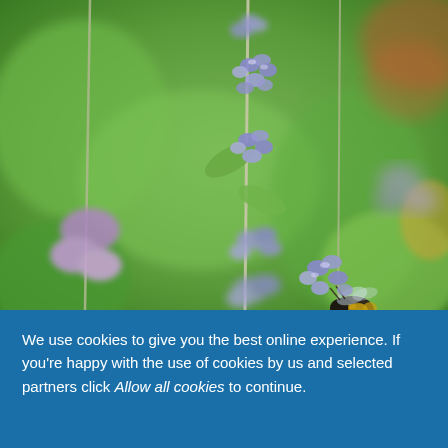[Figure (photo): Close-up photograph of lavender/catmint purple flowers on tall stems with a bumblebee visible on the right side collecting nectar, against a blurred green foliage background with a hint of reddish-brown in the upper right corner.]
We use cookies to give you the best online experience. If you're happy with the use of cookies by us and selected partners click Allow all cookies to continue.